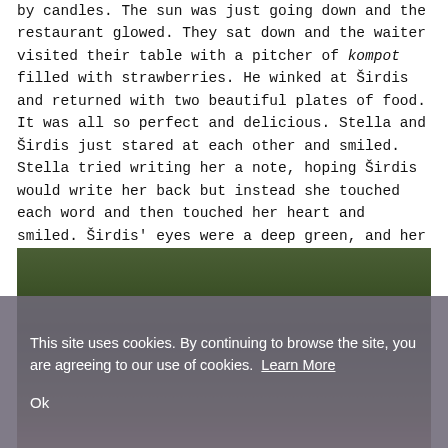by candles. The sun was just going down and the restaurant glowed. They sat down and the waiter visited their table with a pitcher of kompot filled with strawberries. He winked at Širdis and returned with two beautiful plates of food. It was all so perfect and delicious. Stella and Širdis just stared at each other and smiled. Stella tried writing her a note, hoping Širdis would write her back but instead she touched each word and then touched her heart and smiled. Širdis' eyes were a deep green, and her cheeks were a perfect winter flush. They finished their apple cake and walked outside.
[Figure (photo): Outdoor photo with dark green foliage background, partially obscured by a cookie consent banner overlay. Lower portion shows what appears to be a person.]
This site uses cookies. By continuing to browse the site, you are agreeing to our use of cookies. Learn More
Ok